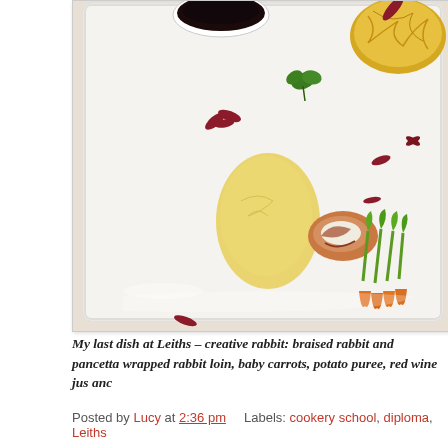[Figure (photo): A plated dish on a white square plate showing braised rabbit and pancetta-wrapped rabbit loin, baby carrots, potato puree, red wine jus and garnishes including edible flowers and herbs.]
My last dish at Leiths – creative rabbit: braised rabbit and pancetta wrapped rabbit loin, baby carrots, potato puree, red wine jus and...
Posted by Lucy at 2:36 pm    Labels: cookery school, diploma, Leiths